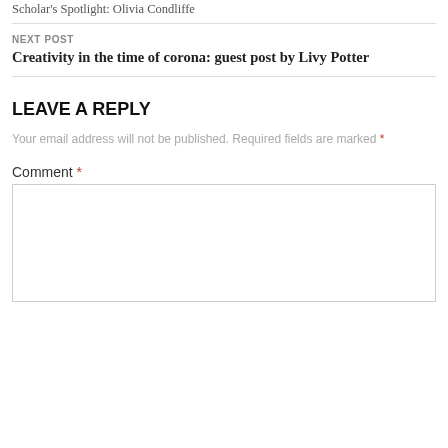Scholar's Spotlight: Olivia Condliffe
NEXT POST
Creativity in the time of corona: guest post by Livy Potter
LEAVE A REPLY
Your email address will not be published. Required fields are marked *
Comment *